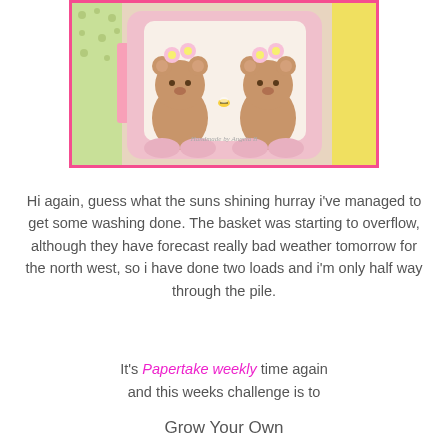[Figure (illustration): A handmade greeting card featuring two cute teddy bears with flowers on their heads, pink paws, on a pink framed background with colorful patterned paper accents. Watermark reads 'Handmade by Angela B'.]
Hi again, guess what the suns shining hurray i've managed to get some washing done. The basket was starting to overflow, although they have forecast really bad weather tomorrow for the north west, so i have done two loads and i'm only half way through the pile.
It's Papertake weekly time again and this weeks challenge is to
Grow Your Own